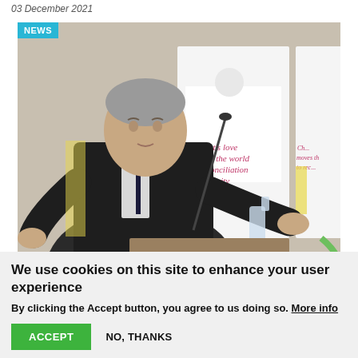03 December 2021
[Figure (photo): A man in a dark suit speaking at a podium/lectern, gesturing with his hands. Behind him are two roll-up banners reading 'Christ's love moves the world to reconciliation and unity' with the World Council of Churches logo.]
We use cookies on this site to enhance your user experience
By clicking the Accept button, you agree to us doing so. More info
ACCEPT
NO, THANKS